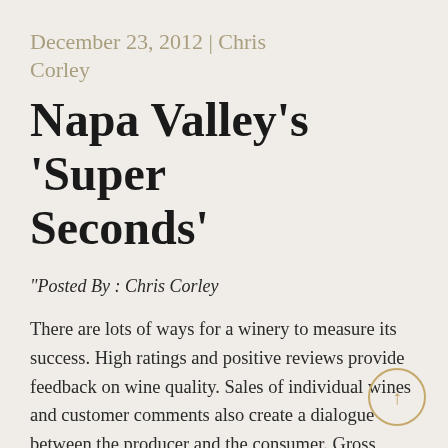December 23, 2012 | Chris Corley
Napa Valley's 'Super Seconds'
"Posted By : Chris Corley
There are lots of ways for a winery to measure its success. High ratings and positive reviews provide feedback on wine quality. Sales of individual wines and customer comments also create a dialogue between the producer and the consumer. Gross revenue, profit margins, case sales by geographical